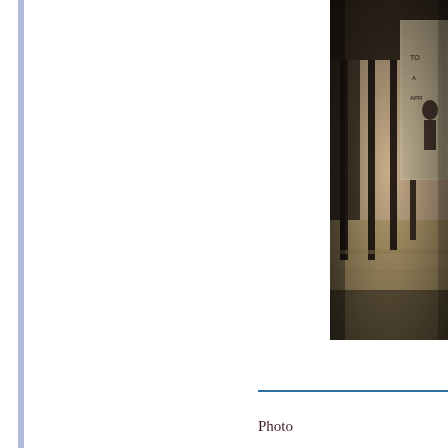[Figure (photo): Sepia-toned photograph of an interior corridor or hallway with columns, flood water on the floor, and a large billboard or sign on the right side partially visible. The image is oriented vertically and cropped on the right edge of the page.]
Photo
by Eleanor L